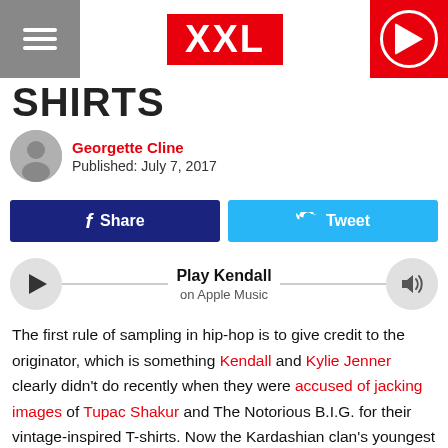XXL
SHIRTS
Georgette Cline
Published: July 7, 2017
[Figure (other): Share and Tweet social media buttons]
[Figure (other): Play Kendall on Apple Music audio bar]
The first rule of sampling in hip-hop is to give credit to the originator, which is something Kendall and Kylie Jenner clearly didn't do recently when they were accused of jacking images of Tupac Shakur and The Notorious B.I.G. for their vintage-inspired T-shirts. Now the Kardashian clan's youngest siblings are being sued by 'Pac's photographer for using his images of the late rapper without permission.